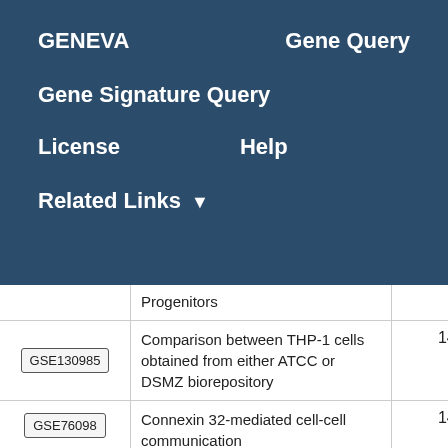GENEVA   Gene Query
Gene Signature Query
License   Help
Related Links ▼
|  | Description | Score |
| --- | --- | --- |
|  | Progenitors |  |
| GSE130985 | Comparison between THP-1 cells obtained from either ATCC or DSMZ biorepository | 14.18 |
| GSE76098 | Connexin 32-mediated cell-cell communication | 14.18 |